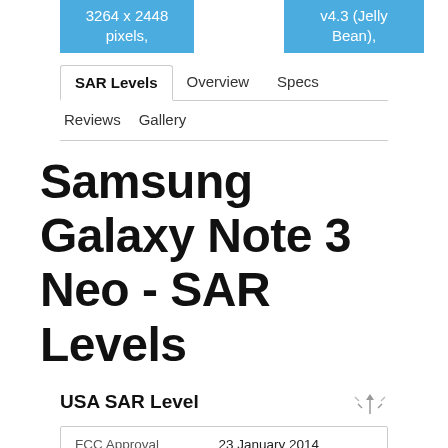[Figure (screenshot): Two blue pill/badge elements showing '3264 x 2448 pixels,' and 'v4.3 (Jelly Bean),']
[Figure (screenshot): Navigation tab bar with tabs: SAR Levels (active), Overview, Specs, Reviews, Gallery]
Samsung Galaxy Note 3 Neo - SAR Levels
USA SAR Level
| FCC Approval Date |  |
| --- | --- |
| FCC Approval Date | 23 January 2014
USA Legal Limit is 1.6 W/kg –
FCC SAR te... |